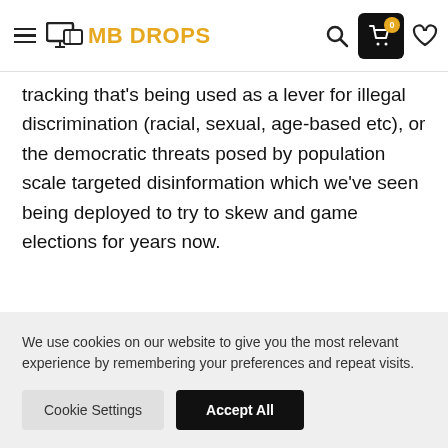MB DROPS
tracking that’s being used as a lever for illegal discrimination (racial, sexual, age-based etc), or the democratic threats posed by population scale targeted disinformation which we’ve seen being deployed to try to skew and game elections for years now.
Google and Facebook respond
We use cookies on our website to give you the most relevant experience by remembering your preferences and repeat visits.
Cookie Settings | Accept All